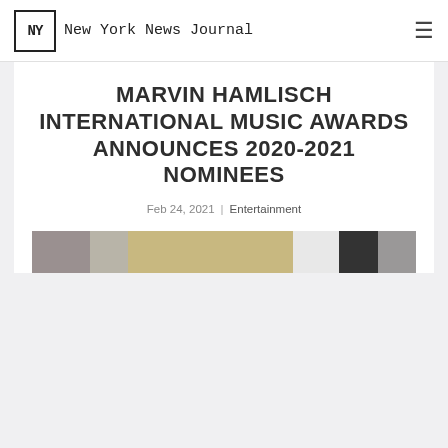NY | New York News Journal
MARVIN HAMLISCH INTERNATIONAL MUSIC AWARDS ANNOUNCES 2020-2021 NOMINEES
Feb 24, 2021 | Entertainment
[Figure (photo): A strip of photos showing various nominees for the Marvin Hamlisch International Music Awards]